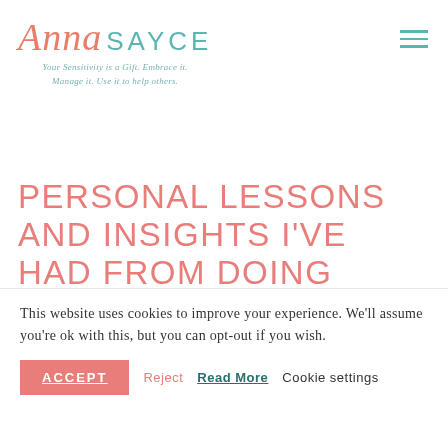Anna SAYCE — Your Sensitivity is a Gift. Embrace it. Manage it. Use it to help others.
PERSONAL LESSONS AND INSIGHTS I'VE HAD FROM DOING 500 INTUITIVE READINGS
This website uses cookies to improve your experience. We'll assume you're ok with this, but you can opt-out if you wish.
ACCEPT  Reject  Read More  Cookie settings